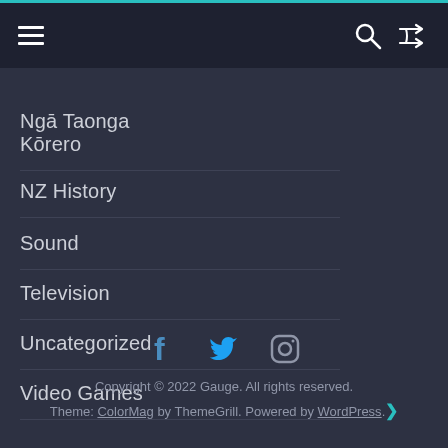Navigation bar with hamburger menu, search, and shuffle icons
Ngā Taonga Kōrero
NZ History
Sound
Television
Uncategorized
Video Games
[Figure (illustration): Social media icons: Facebook, Twitter, Instagram]
Copyright © 2022 Gauge. All rights reserved.
Theme: ColorMag by ThemeGrill. Powered by WordPress.